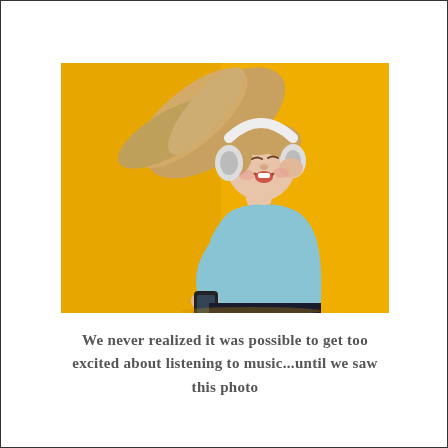[Figure (photo): A young woman with long blonde hair swinging wildly, wearing white over-ear headphones and a light blue t-shirt, dancing joyfully against a bright yellow background. She holds a smartphone in her right hand and her mouth is open in an expression of excitement or singing. She is wearing dark jeans.]
We never realized it was possible to get too excited about listening to music...until we saw this photo